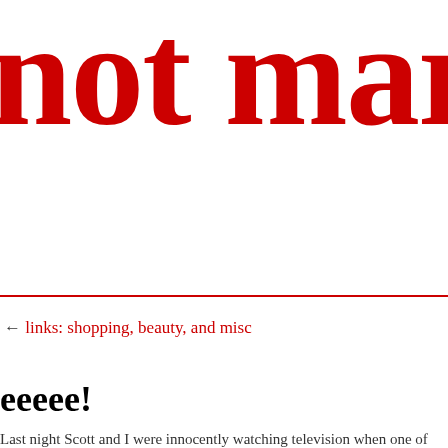not marthe
← links: shopping, beauty, and misc
eeeee!
Last night Scott and I were innocently watching television when one of those lovelies, the Giant House Spider (warning! picture!) ran across the carpet. You can an accurately dramatic account of a similar encounter here at Sundry Mourning. it first and jumped up to stand on the couch and screeched "ohmigodSPIDER" t who dutifully went into the bathroom to get some toilet paper before he had a lo He came back in and when he finally saw it all plans of squishing it using his ha abandoned. We couldn't bring ourselves to smash it into our carpet so he ran ups get a bowl to trap it under while I watched it carefully because as much as I fear this is one that you really want to know the location of. We ran around a bit…